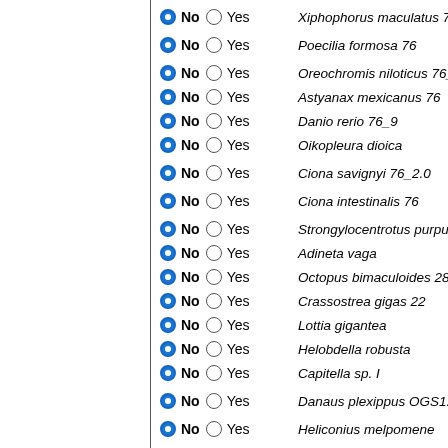No / Yes — Xiphophorus maculatus 76_4
No / Yes — Poecilia formosa 76
No / Yes — Oreochromis niloticus 76_1.0
No / Yes — Astyanax mexicanus 76
No / Yes — Danio rerio 76_9
No / Yes — Oikopleura dioica
No / Yes — Ciona savignyi 76_2.0
No / Yes — Ciona intestinalis 76
No / Yes — Strongylocentrotus purpuratus
No / Yes — Adineta vaga
No / Yes — Octopus bimaculoides 280
No / Yes — Crassostrea gigas 22
No / Yes — Lottia gigantea
No / Yes — Helobdella robusta
No / Yes — Capitella sp. I
No / Yes — Danaus plexippus OGS1.0
No / Yes — Heliconius melpomene
No / Yes — Bombyx mori
No / Yes — Nasonia vitripennis